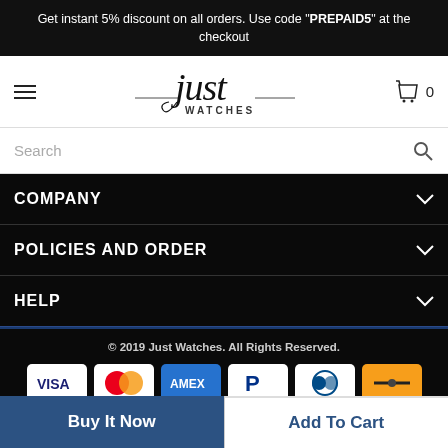Get instant 5% discount on all orders. Use code "PREPAID5" at the checkout
[Figure (logo): Just Watches logo - cursive 'just' with 'WATCHES' text below]
[Figure (other): Search bar with magnifying glass icon]
COMPANY
POLICIES AND ORDER
HELP
© 2019 Just Watches. All Rights Reserved.
[Figure (other): Payment method icons: VISA, Mastercard, AMEX, PayPal, Diners Club, Maestro]
Buy It Now | Add To Cart